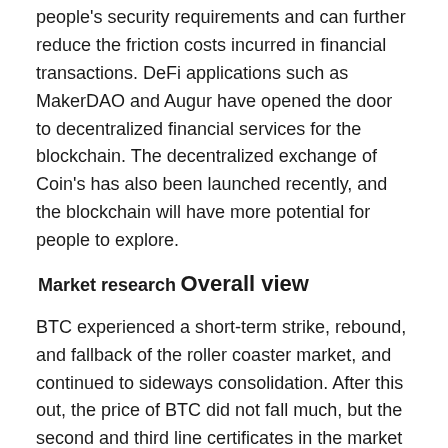people's security requirements and can further reduce the friction costs incurred in financial transactions. DeFi applications such as MakerDAO and Augur have opened the door to decentralized financial services for the blockchain. The decentralized exchange of Coin's has also been launched recently, and the blockchain will have more potential for people to explore.
Market research
Overall view
BTC experienced a short-term strike, rebound, and fallback of the roller coaster market, and continued to sideways consolidation. After this out, the price of BTC did not fall much, but the second and third line certificates in the market suffered serious blood loss and fell. A large number of investors choose to sell and exchange currency